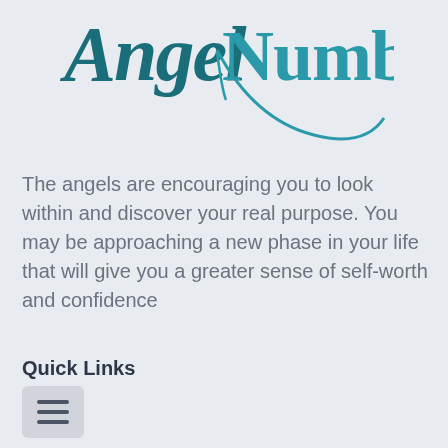[Figure (logo): AngelNumber logo in teal/dark teal serif and script font]
The angels are encouraging you to look within and discover your real purpose. You may be approaching a new phase in your life that will give you a greater sense of self-worth and confidence
Quick Links
[Figure (other): Hamburger menu icon — three horizontal lines in a grey rounded rectangle box]